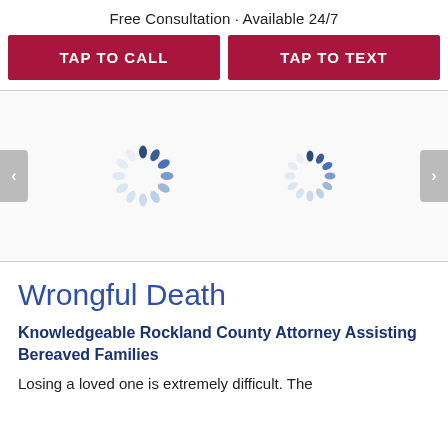Free Consultation · Available 24/7
TAP TO CALL
TAP TO TEXT
[Figure (other): Loading spinner icons (two circular loading spinners) in a carousel area with left and right navigation arrows]
Wrongful Death
Knowledgeable Rockland County Attorney Assisting Bereaved Families
Losing a loved one is extremely difficult. The